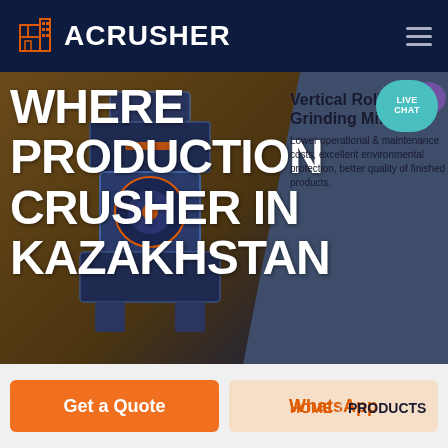ACRUSHER
[Figure (screenshot): Website screenshot showing ACRUSHER industrial equipment manufacturer page. Dark navy header with orange building logo and ACRUSHER brand name. Hero section with diagonal split: left side brown/dark showing crusher machine, right side slate blue showing product card for Vertical Roller Grinding Mill. Main headline reads WHERE PRODUCTION CRUSHER IN KAZAKHSTAN in large white bold text. Live Chat teal bubble in top right of hero. Breadcrumb navigation showing HOME / PRODUCTS.]
WHERE PRODUCTION CRUSHER IN KAZAKHSTAN
Vertical Roller Grinding Mill
Lower operational & maintenance costs, excellent environmental protection, better quality of finished products.
HOME / PRODUCTS
Get a Quote
WhatsApp